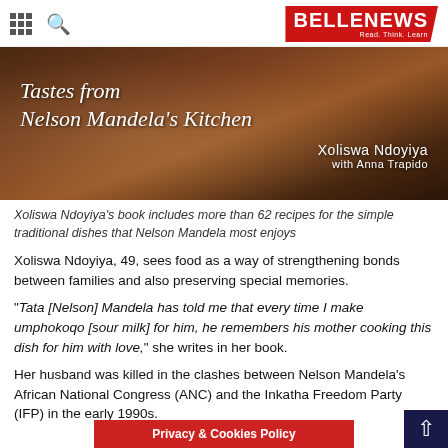BELLENEWS Read. Think. Learn.
[Figure (photo): Book cover showing 'Tastes from Nelson Mandela's Kitchen' by Xoliswa Ndoyiya with Anna Trapido, dark brown warm tones with food imagery]
Xoliswa Ndoyiya's book includes more than 62 recipes for the simple traditional dishes that Nelson Mandela most enjoys
Xoliswa Ndoyiya, 49, sees food as a way of strengthening bonds between families and also preserving special memories.
"Tata [Nelson] Mandela has told me that every time I make umphokoqo [sour milk] for him, he remembers his mother cooking this dish for him with love," she writes in her book.
Her husband was killed in the clashes between Nelson Mandela's African National Congress (ANC) and the Inkatha Freedom Party (IFP) in the early 1990s.